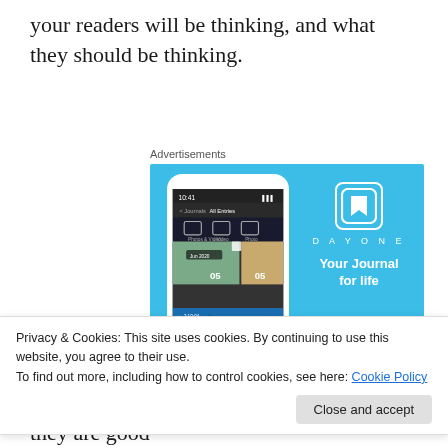your readers will be thinking, and what they should be thinking.
Advertisements
[Figure (screenshot): DayOne app advertisement with blue background showing a smartphone with journal app UI and text 'DAYONE - Your Journal for life']
Privacy & Cookies: This site uses cookies. By continuing to use this website, you agree to their use.
To find out more, including how to control cookies, see here: Cookie Policy
Rather, make it clear by their actions that they are good